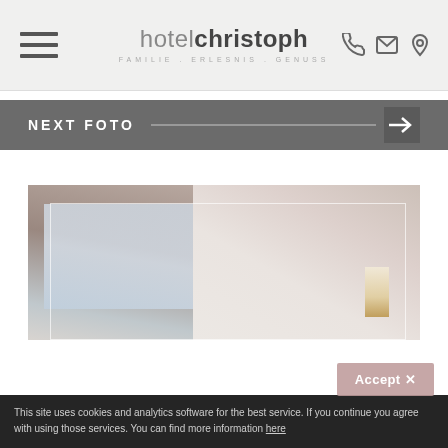hotel christoph — FAMILIE. ERLESNIS. GENUSS
NEXT FOTO →
[Figure (photo): Blurry interior hotel room with window and lamp]
Accept ✕
This site uses cookies and analytics software for the best service. If you continue you agree with using those services. You can find more information here